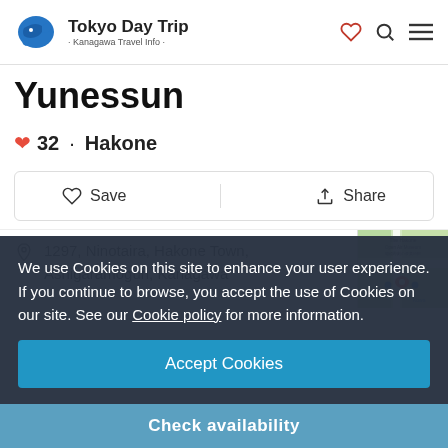Tokyo Day Trip · Kanagawa Travel Info ·
Yunessun
32 · Hakone
Save  Share
1297, Ninotaira, Hakone Town, Ashigaramogun, Kanagawa
[Figure (map): Map thumbnail showing location near The Hakone Open Air Museum with a red location pin]
We use Cookies on this site to enhance your user experience. If you continue to browse, you accept the use of Cookies on our site. See our Cookie policy for more information.
Accept Cookies
Check availability